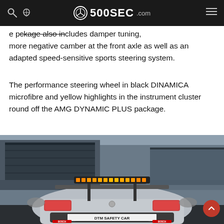500SEC.com
e package also includes damper tuning, more negative camber at the front axle as well as an adapted speed-sensitive sports steering system.
The performance steering wheel in black DINAMICA microfibre and yellow highlights in the instrument cluster round off the AMG DYNAMIC PLUS package.
[Figure (photo): Rear view of a Mercedes-AMG DTM Safety Car on a racetrack, with orange LED light bar on the roof spoiler and 'DTM SAFETY CAR' lettering on the rear bumper, Bosch sponsor logos visible.]